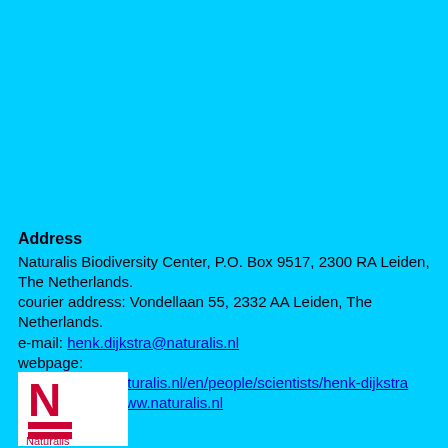Address
Naturalis Biodiversity Center, P.O. Box 9517, 2300 RA Leiden, The Netherlands.
courier address: Vondellaan 55, 2332 AA Leiden, The Netherlands.
e-mail: henk.dijkstra@naturalis.nl
webpage: http://science.naturalis.nl/en/people/scientists/henk-dijkstra
website: http://www.naturalis.nl
[Figure (logo): Naturalis Biodiversity Center logo: red N letter on white background with red horizontal bars below, text 'Naturalis' underneath]